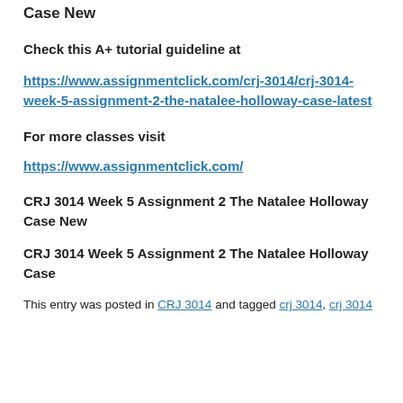Case New
Check this A+ tutorial guideline at
https://www.assignmentclick.com/crj-3014/crj-3014-week-5-assignment-2-the-natalee-holloway-case-latest
For more classes visit
https://www.assignmentclick.com/
CRJ 3014 Week 5 Assignment 2 The Natalee Holloway Case New
CRJ 3014 Week 5 Assignment 2 The Natalee Holloway Case
This entry was posted in CRJ 3014 and tagged crj 3014, crj 3014